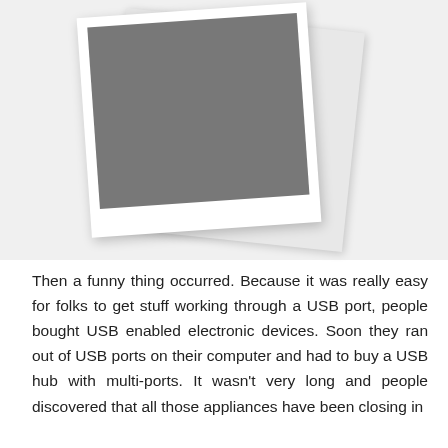[Figure (photo): Two overlapping Polaroid-style photographs, slightly rotated, with dark gray/blank image areas, shown against a light gray background.]
Then a funny thing occurred. Because it was really easy for folks to get stuff working through a USB port, people bought USB enabled electronic devices. Soon they ran out of USB ports on their computer and had to buy a USB hub with multi-ports. It wasn't very long and people discovered that all those appliances have been closing in